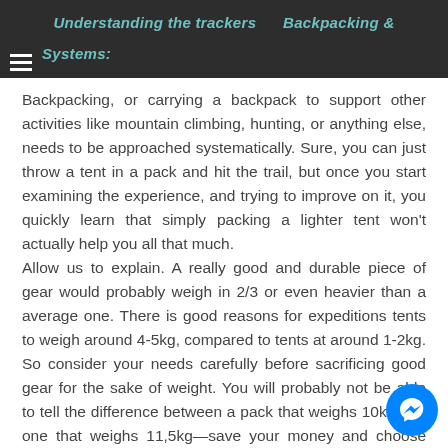Understanding the trackers Backpacking & Systems:
Backpacking, or carrying a backpack to support other activities like mountain climbing, hunting, or anything else, needs to be approached systematically. Sure, you can just throw a tent in a pack and hit the trail, but once you start examining the experience, and trying to improve on it, you quickly learn that simply packing a lighter tent won't actually help you all that much. Allow us to explain. A really good and durable piece of gear would probably weigh in 2/3 or even heavier than a average one. There is good reasons for expeditions tents to weigh around 4-5kg, compared to tents at around 1-2kg. So consider your needs carefully before sacrificing good gear for the sake of weight. You will probably not be able to tell the difference between a pack that weighs 10kg and one that weighs 11,5kg—save your money and choose carefully.